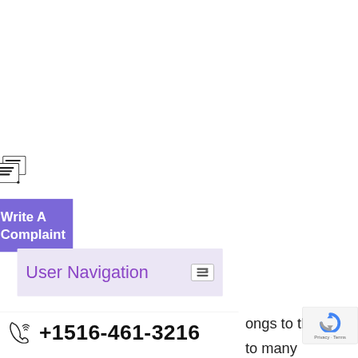[Figure (screenshot): A partial screenshot of a website interface showing a document/chat icon, a purple 'Write A Complaint' button, a light purple 'User Navigation' panel with a menu icon, a phone bar with number +1516-461-3216, partial text 'ongs to th' and 'to many', and a reCAPTCHA badge in the bottom right.]
Write A Complaint
User Navigation
+1516-461-3216
ongs to th
to many